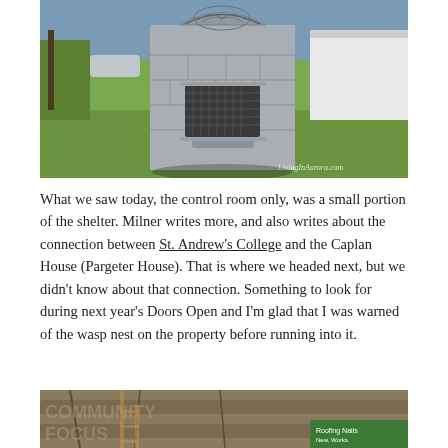[Figure (photo): Photograph of a small concrete block shelter structure with a decorative arched metalwork design on top and a mesh-covered opening. The structure is painted grey and sits on a green lawn beside a white building. A watermark reads 'LivingInAurora.com'.]
What we saw today, the control room only, was a small portion of the shelter. Milner writes more, and also writes about the connection between St. Andrew's College and the Caplan House (Pargeter House). That is where we headed next, but we didn't know about that connection. Something to look for during next year's Doors Open and I'm glad that I was warned of the wasp nest on the property before running into it.
[Figure (photo): Partial photograph showing the underside of a wooden structure or ceiling, with scaffolding or ladders visible and a green sign in the lower right corner.]